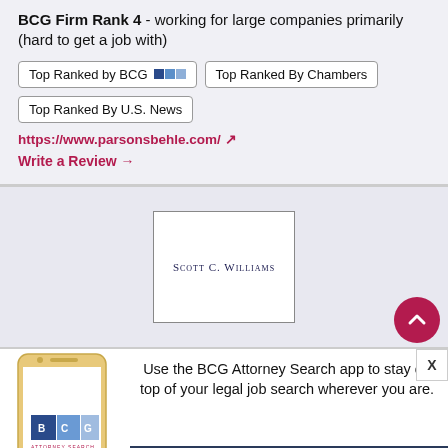BCG Firm Rank 4 - working for large companies primarily (hard to get a job with)
Top Ranked by BCG
Top Ranked By Chambers
Top Ranked By U.S. News
https://www.parsonsbehle.com/
Write a Review →
[Figure (logo): Scott C. Williams law firm logo in a bordered rectangle]
[Figure (infographic): BCG Attorney Search mobile app promotional banner showing phone graphic and download call-to-action]
Use the BCG Attorney Search app to stay on top of your legal job search wherever you are.
Download on the App Store